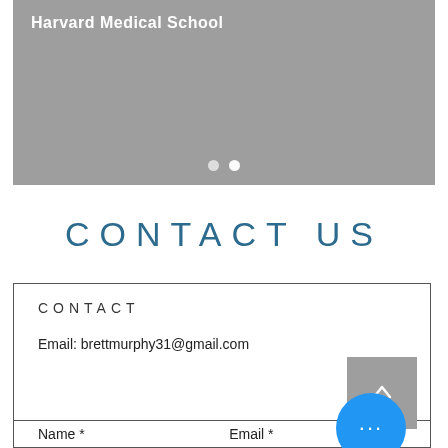[Figure (screenshot): Gray slideshow banner with 'Harvard Medical School' text in white at top left, and two navigation dots at the bottom center]
CONTACT US
CONTACT
Email: brettmurphy31@gmail.com
Name *   Email *